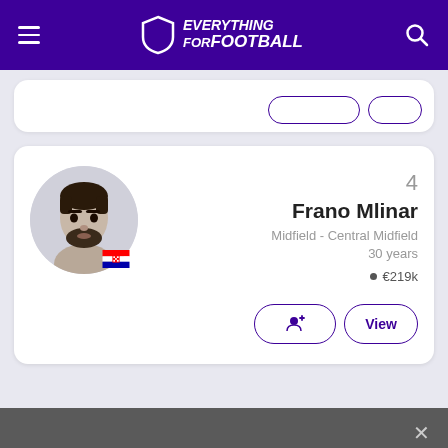Everything for Football
[Figure (screenshot): Partial player card at top with action buttons]
[Figure (infographic): Player card for Frano Mlinar, number 4, Midfield - Central Midfield, 30 years, value €219k, with photo and Croatian flag]
4
Frano Mlinar
Midfield - Central Midfield
30 years
€219k